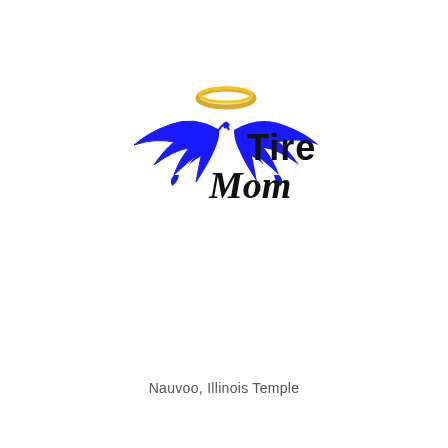[Figure (logo): Tire Mom logo with blue angel wings and a gold halo above, with the text 'Tire' in black sans-serif and 'Mom' in black italic script below]
Nauvoo, Illinois Temple